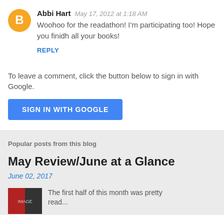Abbi Hart  May 17, 2012 at 1:18 AM
Woohoo for the readathon! I'm participating too! Hope you finidh all your books!
REPLY
To leave a comment, click the button below to sign in with Google.
SIGN IN WITH GOOGLE
Popular posts from this blog
May Review/June at a Glance
June 02, 2017
The first half of this month was pretty...